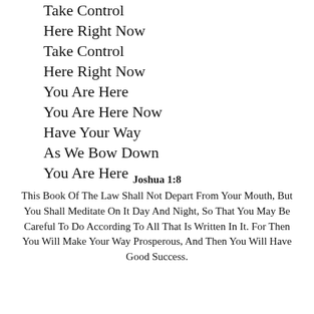Take Control
Here Right Now
Take Control
Here Right Now
You Are Here
You Are Here Now
Have Your Way
As We Bow Down
You Are Here
Joshua 1:8
This Book Of The Law Shall Not Depart From Your Mouth, But You Shall Meditate On It Day And Night, So That You May Be Careful To Do According To All That Is Written In It. For Then You Will Make Your Way Prosperous, And Then You Will Have Good Success.